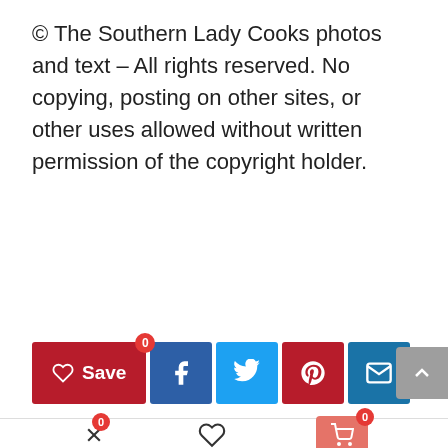© The Southern Lady Cooks photos and text – All rights reserved. No copying, posting on other sites, or other uses allowed without written permission of the copyright holder.
[Figure (other): Social share bar with Save button (red, heart icon, badge 0), Facebook button (dark blue, f icon), Twitter button (light blue, bird icon), Pinterest button (red, p icon), Email button (blue, envelope icon), and scroll-to-top button (grey, chevron up) on the right edge]
[Figure (other): Bottom navigation bar with a compare/shuffle icon with badge 0 on the left, a heart/wishlist icon in the center, and a red shopping cart button with badge 0 on the right]